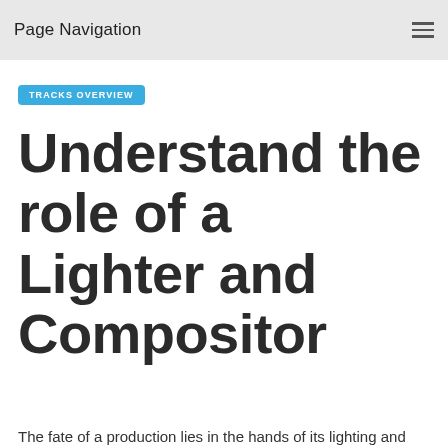Page Navigation
TRACKS OVERVIEW
Understand the role of a Lighter and Compositor
The fate of a production lies in the hands of its lighting and